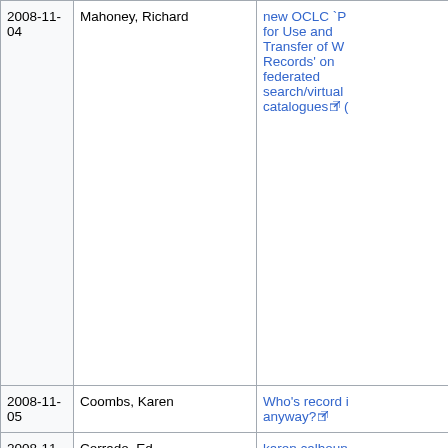| Date | Author | Title/Link |
| --- | --- | --- |
| 2008-11-04 | Mahoney, Richard | new OCLC `Policy for Use and Transfer of WorldCat Records' on federated search/virtual catalogues (external link) |
| 2008-11-05 | Coombs, Karen | Who's record is it anyway? (external link) |
| 2008-11-05 | Corrado, Ed | karen calhoun on oclc's updated record use policy (external link) |
| 2008-11-05 | Corrado, Ed | new oclc policy on worldcat records re-released (external link) |
| 2008-11-05 | Open Content Alliance | New OCLC Records Policy Generates Debate (external link) |